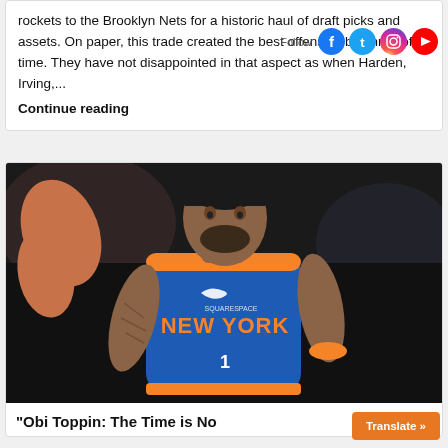rockets to the Brooklyn Nets for a historic haul of draft picks and assets. On paper, this trade created the best offensive big three of all time. They have not disappointed in that aspect as when Harden, Irving,...
Continue reading
[Figure (photo): Basketball player wearing a New York Knicks blue and orange jersey with number 1, in an action pose. The player is Obi Toppin.]
"Obi Toppin: The Time is No